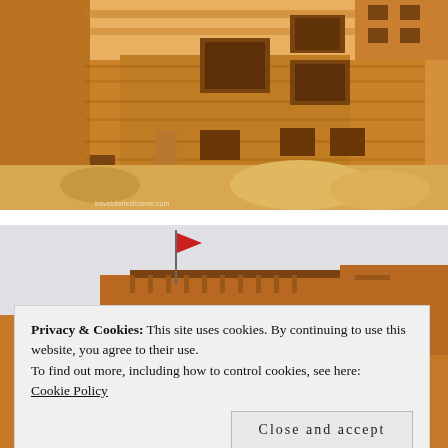[Figure (photo): Ancient sandstone ruins with multiple window openings and crumbling walls in warm orange/yellow tones, desert architecture, watermark partially visible at bottom left]
[Figure (photo): Partial view of an orange/terracotta building with a small red flag on top against a light grey sky, partially obscured by cookie consent banner]
Privacy & Cookies: This site uses cookies. By continuing to use this website, you agree to their use.
To find out more, including how to control cookies, see here:
Cookie Policy
Close and accept